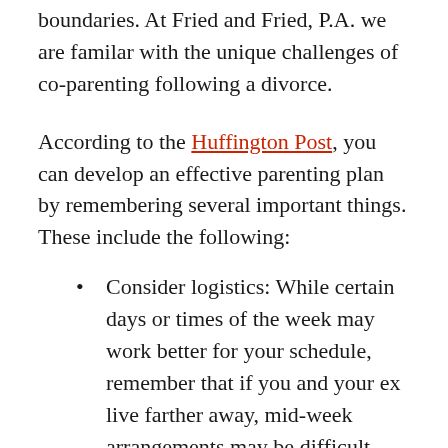boundaries. At Fried and Fried, P.A. we are familar with the unique challenges of co-parenting following a divorce.
According to the Huffington Post, you can develop an effective parenting plan by remembering several important things. These include the following:
Consider logistics: While certain days or times of the week may work better for your schedule, remember that if you and your ex live farther away, mid-week arrangements may be difficult. Especially if you have children who are in school or involved in extracurricular activities.
Schedule vacations: You and your spouse both deserve time to take your children on vacation. Even if you do not have plans to